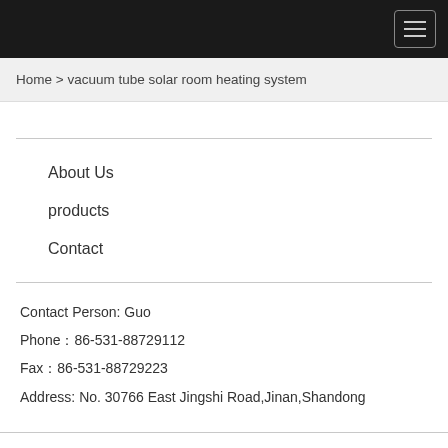Home > vacuum tube solar room heating system
About Us
products
Contact
Contact Person: Guo
Phone：86-531-88729112
Fax：86-531-88729223
Address: No. 30766 East Jingshi Road,Jinan,Shandong